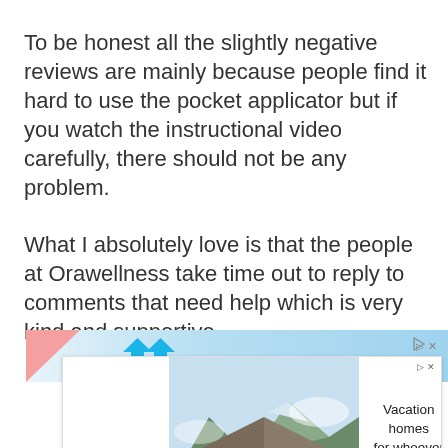To be honest all the slightly negative reviews are mainly because people find it hard to use the pocket applicator but if you watch the instructional video carefully, there should not be any problem.
What I absolutely love is that the people at Orawellness take time out to reply to comments that need help which is very kind and supportive.
[Figure (other): Advertisement banner with blue gradient background, pink triangle on left, two upward blue arrows, and ad controls (play/close icons) on right]
[Figure (other): Vrbo advertisement showing vacation home with mountain backdrop, Vrbo logo on left, headline 'Vacation homes for whoever you call family' on right with 'Find yours' blue button]